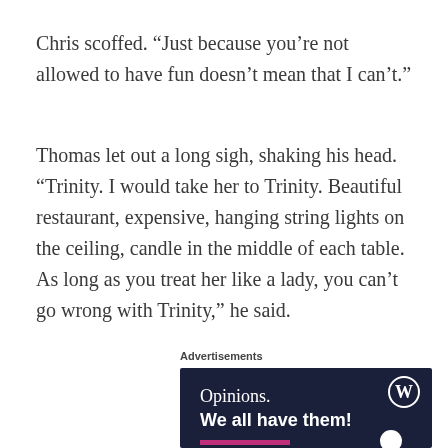Chris scoffed. “Just because you’re not allowed to have fun doesn’t mean that I can’t.”
Thomas let out a long sigh, shaking his head. “Trinity. I would take her to Trinity. Beautiful restaurant, expensive, hanging string lights on the ceiling, candle in the middle of each table. As long as you treat her like a lady, you can’t go wrong with Trinity,” he said.
Advertisements
[Figure (other): WordPress advertisement banner with dark navy background showing WordPress logo (W in circle), text 'Opinions.' in white serif font and 'We all have them!' in bold white sans-serif font, with a pink/magenta bar at the bottom left and a white circle at the bottom right.]